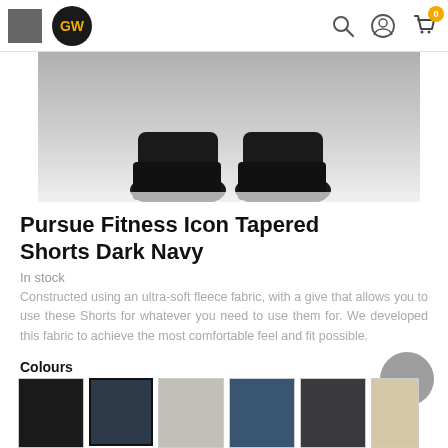GW — navigation header with logo, search, profile, and cart icons
[Figure (photo): Bottom portion of person wearing dark navy shorts and black sneakers on white background]
Pursue Fitness Icon Tapered Shorts Dark Navy
In stock
Constructed using an ultra-soft fleece fabric, with a give that allows you to use these Shorts for whatever you need to use them for. We developed this fabric to achieve the most comfortable feel and fit possible.
Colours
[Figure (photo): Row of six colour variant thumbnail images of the shorts: black, dark navy (selected), light grey, blue, dark grey, beige/cream]